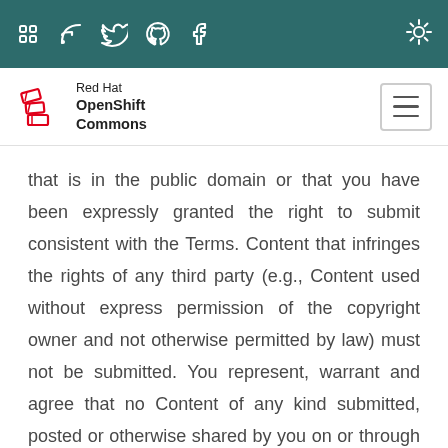Red Hat OpenShift Commons navigation bar with social icons (Slack, RSS, Twitter, GitHub, Facebook) and theme toggle
[Figure (logo): Red Hat OpenShift Commons logo with hamburger menu button]
that is in the public domain or that you have been expressly granted the right to submit consistent with the Terms. Content that infringes the rights of any third party (e.g., Content used without express permission of the copyright owner and not otherwise permitted by law) must not be submitted. You represent, warrant and agree that no Content of any kind submitted, posted or otherwise shared by you on or through the Website violates or infringes upon the rights of any third party, including copyright, trademark, privacy, publicity or other personal or